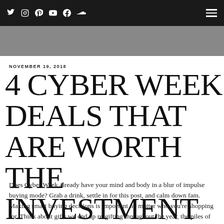Social media navigation bar with Twitter, Instagram, Pinterest, YouTube, Facebook, SoundCloud icons and hamburger menu
[Figure (photo): Dark blurred hero image at top of article, showing a partial scene with dark tones and a yellow accent]
NOVEMBER 19, 2018
4 CYBER WEEK DEALS THAT ARE WORTH THE INVESTMENT
Does Cyber Week already have your mind and body in a blur of impulse buying mode? Grab a drink, settle in for this post, and calm down fam. Making smart buying decisions is important no matter who you’re shopping for. Think about gifts we end up re-gifting throughout the year, the piles of clothes we ship off to consignment, you…